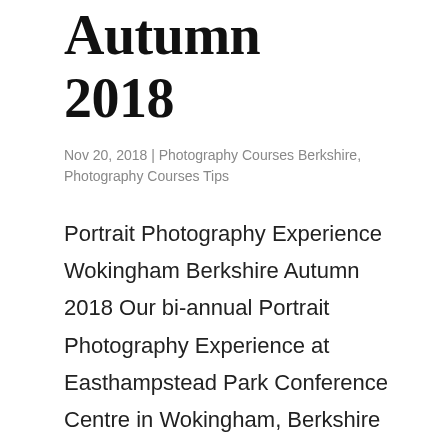Autumn 2018
Nov 20, 2018 | Photography Courses Berkshire, Photography Courses Tips
Portrait Photography Experience Wokingham Berkshire Autumn 2018 Our bi-annual Portrait Photography Experience at Easthampstead Park Conference Centre in Wokingham, Berkshire came